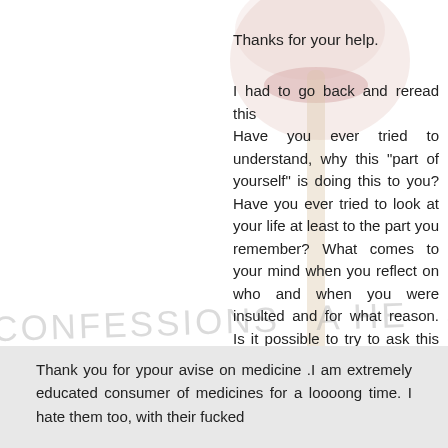[Figure (photo): Background image showing a close-up of a woman's face (lips/chin area) with a popsicle stick/lollipop in the center, faded/semi-transparent as a background watermark image]
Thanks for your help.
I had to go back and reread this
Have you ever tried to understand, why this "part of yourself" is doing this to you? Have you ever tried to look at your life at least to the part you remember? What comes to your mind when you reflect on who and when you were insulted and for what reason. Is it possible to try to ask this part, why it thinks you are bad? Could you try to concentrate on people that told you, you were bad or evil or insulted you for that matter, when it starts?
Yes to all the above.
What is your fear about?
I understand what it is about,
Thank you for ypour avise on medicine .I am extremely educated consumer of medicines for a loooong time. I hate them too, with their fucked